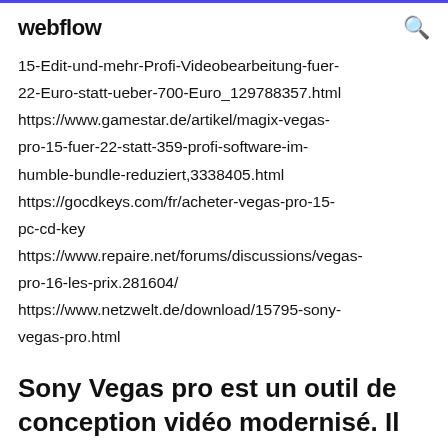webflow
15-Edit-und-mehr-Profi-Videobearbeitung-fuer-22-Euro-statt-ueber-700-Euro_129788357.html https://www.gamestar.de/artikel/magix-vegas-pro-15-fuer-22-statt-359-profi-software-im-humble-bundle-reduziert,3338405.html https://gocdkeys.com/fr/acheter-vegas-pro-15-pc-cd-key https://www.repaire.net/forums/discussions/vegas-pro-16-les-prix.281604/ https://www.netzwelt.de/download/15795-sony-vegas-pro.html
Sony Vegas pro est un outil de conception vidéo modernisé. Il